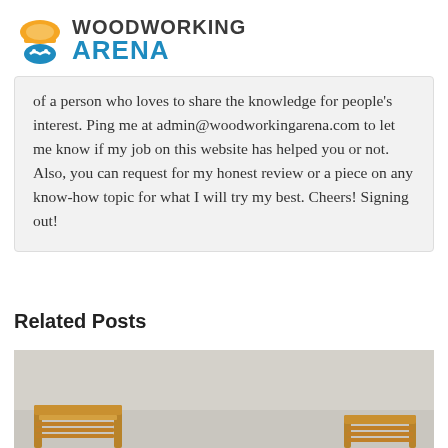Woodworking Arena
of a person who loves to share the knowledge for people's interest. Ping me at admin@woodworkingarena.com to let me know if my job on this website has helped you or not. Also, you can request for my honest review or a piece on any know-how topic for what I will try my best. Cheers! Signing out!
Related Posts
[Figure (photo): Photo of wooden furniture pieces, likely chairs or bed frames, shown against a light grey background]